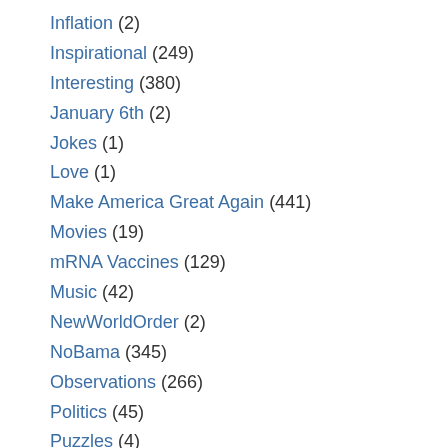Inflation (2)
Inspirational (249)
Interesting (380)
January 6th (2)
Jokes (1)
Love (1)
Make America Great Again (441)
Movies (19)
mRNA Vaccines (129)
Music (42)
NewWorldOrder (2)
NoBama (345)
Observations (266)
Politics (45)
Puzzles (4)
Rants (393)
Sad Things (123)